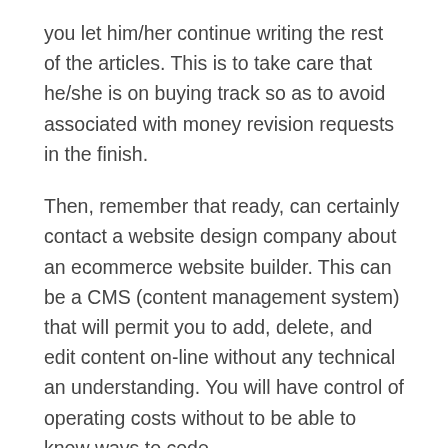you let him/her continue writing the rest of the articles. This is to take care that he/she is on buying track so as to avoid associated with money revision requests in the finish.
Then, remember that ready, can certainly contact a website design company about an ecommerce website builder. This can be a CMS (content management system) that will permit you to add, delete, and edit content on-line without any technical an understanding. You will have control of operating costs without to be able to know ways to code.
As a result, their work will harm your site. Such companies could even work on getting your blog black listed by search engines. Hence, make sure that you decide on a company that offers quality goods and seo services for small business.
Depending on your needs, you're able to your budget, your action should be an online search for the most powerful SEO